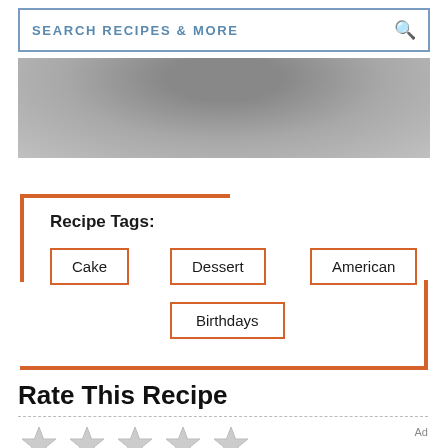SEARCH RECIPES & MORE
[Figure (photo): Partial view of a baked item in a dish, grey/brown tones]
Recipe Tags:
Cake
Dessert
American
Birthdays
Rate This Recipe
[Figure (infographic): Five empty grey star rating icons]
[Figure (infographic): Dotdash Meredith advertisement banner: 'We help people find answers, solve problems and get inspired.']